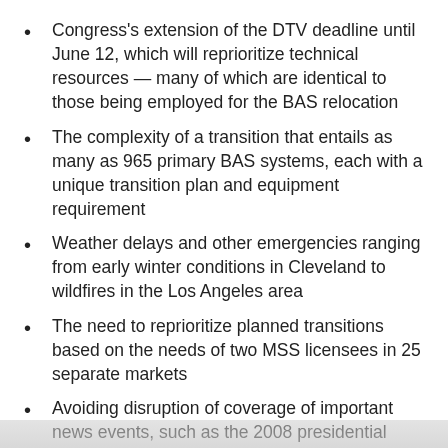Congress's extension of the DTV deadline until June 12, which will reprioritize technical resources — many of which are identical to those being employed for the BAS relocation
The complexity of a transition that entails as many as 965 primary BAS systems, each with a unique transition plan and equipment requirement
Weather delays and other emergencies ranging from early winter conditions in Cleveland to wildfires in the Los Angeles area
The need to reprioritize planned transitions based on the needs of two MSS licensees in 25 separate markets
Avoiding disruption of coverage of important news events, such as the 2008 presidential race